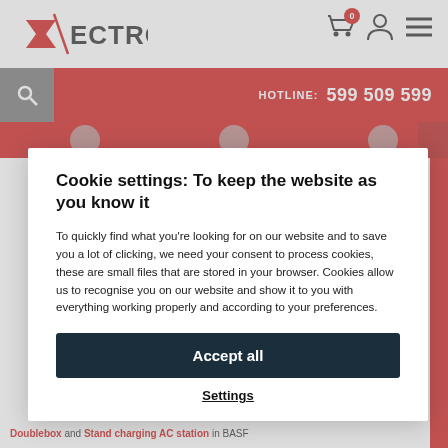SECTRON — HOTLINE: 599 509 599
Cookie settings: To keep the website as you know it
To quickly find what you're looking for on our website and to save you a lot of clicking, we need your consent to process cookies, these are small files that are stored in your browser. Cookies allow us to recognise you on our website and show it to you with everything working properly and according to your preferences.
Accept all
Settings
Doublebox and Stand charging AC station in BASF